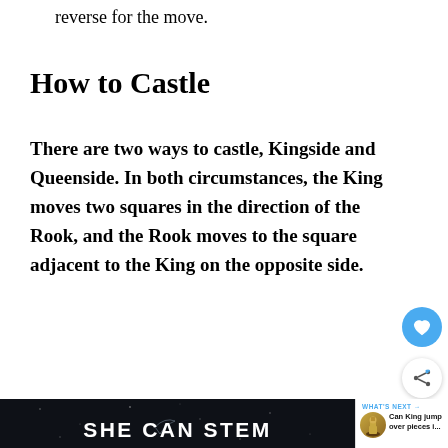reverse for the move.
How to Castle
There are two ways to castle, Kingside and Queenside. In both circumstances, the King moves two squares in the direction of the Rook, and the Rook moves to the square adjacent to the King on the opposite side.
[Figure (screenshot): Dark background panel showing chess-related content with 'SHE CAN STEM' text overlaid, and a 'WHAT'S NEXT' panel showing chess piece thumbnail with text 'Can King jump over pieces i...']